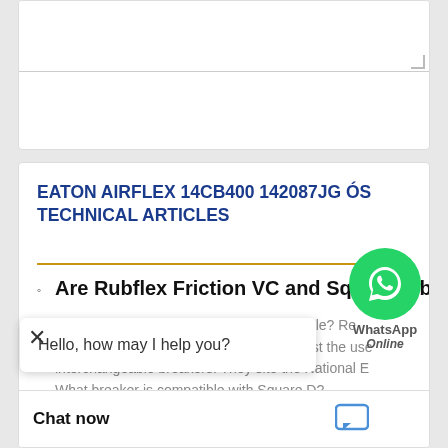[Figure (screenshot): Send Now orange button in a white card form area with textarea above]
EATON AIRFLEX 14CB400 142087JG ÓS TECHNICAL ARTICLES
Are Rubflex Friction VC and Square D b — Which Circuit Breakers Are Interchangeable? Rel Manufacturers like Square D warns against the use interchangeable breakers. They site the National E What breaker is compatible with Square D?...
Can Circuit Breaker trip for no reason? — ripping with Nothing aker – A short circuit nt flow through the
[Figure (screenshot): WhatsApp Online floating button overlay with green circle phone icon, WhatsApp label, and Online text]
Hello, how may I help you?
Chat now